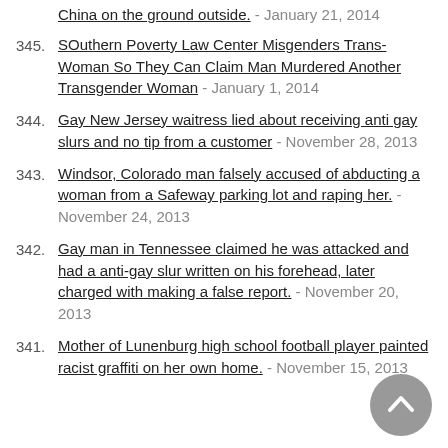China on the ground outside. - January 21, 2014
345. SOuthern Poverty Law Center Misgenders Trans-Woman So They Can Claim Man Murdered Another Transgender Woman - January 1, 2014
344. Gay New Jersey waitress lied about receiving anti gay slurs and no tip from a customer - November 28, 2013
343. Windsor, Colorado man falsely accused of abducting a woman from a Safeway parking lot and raping her. - November 24, 2013
342. Gay man in Tennessee claimed he was attacked and had a anti-gay slur written on his forehead, later charged with making a false report. - November 20, 2013
341. Mother of Lunenburg high school football player painted racist graffiti on her own home. - November 15, 2013